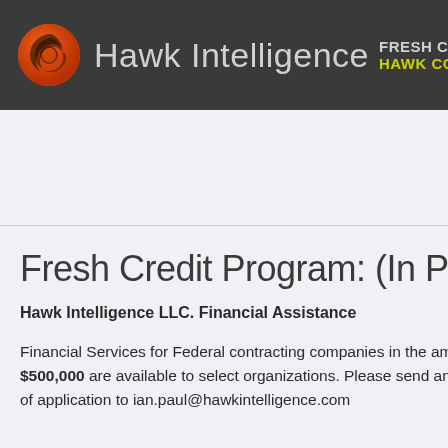Hawk Intelligence   FRESH CR  HAWK CO
Fresh Credit Program: (In Proces
Hawk Intelligence LLC. Financial Assistance
Financial Services for Federal contracting companies in the am $500,000 are available to select organizations. Please send an of application to ian.paul@hawkintelligence.com